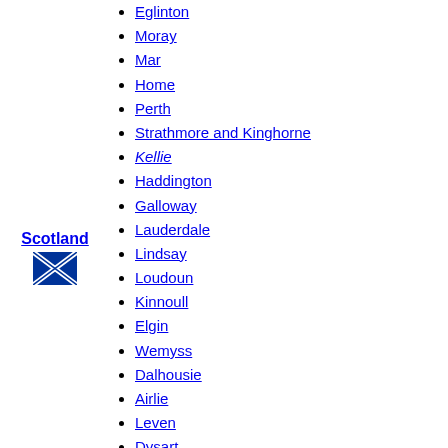Eglinton
Moray
Mar
Home
Perth
Strathmore and Kinghorne
Kellie
Haddington
Galloway
Lauderdale
Lindsay
Loudoun
Kinnoull
Elgin
Wemyss
Dalhousie
Airlie
Leven
Dysart
Selkirk§
Northesk
Kincardine
Balcarres
Newburgh
Dundee
Scotland